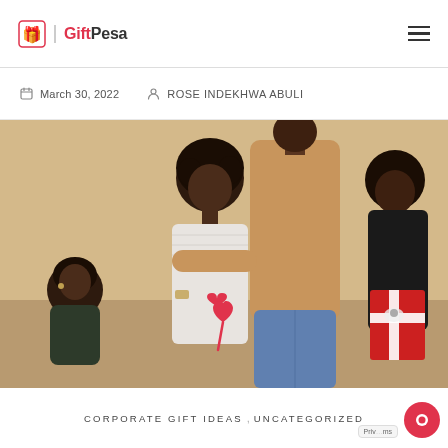GiftPesa
March 30, 2022  ROSE INDEKHWA ABULI
[Figure (photo): Three Black people in a room: a woman with natural hair wearing a white lace top holds a red heart lollipop behind her back, a man in a tan/caramel t-shirt and blue jeans stands behind her with arm around her shoulder, another woman in dark clothing sits in the background on the left. A person on the right holds a large red wrapped gift box with white ribbon.]
CORPORATE GIFT IDEAS , UNCATEGORIZED